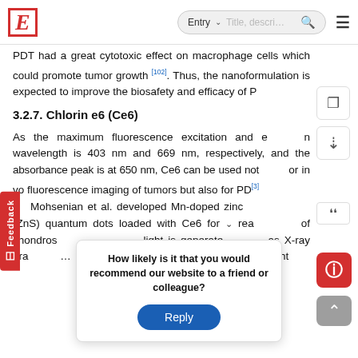E  Entry ∨  [Title, descri...]  🔍  ≡
PDT had a great cytotoxic effect on macrophage cells which could promote tumor growth [102]. Thus, the nanoformulation is expected to improve the biosafety and efficacy of P...
3.2.7. Chlorin e6 (Ce6)
As the maximum fluorescence excitation and emission wavelength is 403 nm and 669 nm, respectively, and the absorbance peak is at 650 nm, Ce6 can be used not only for in vivo fluorescence imaging of tumors but also for PDT [3]. Mohsenian et al. developed Mn-doped zinc sulfide (ZnS) quantum dots loaded with Ce6 for the treatment of chondros... light is generate... as X-ray irra... obtained nanocarr... ular light
How likely is it that you would recommend our website to a friend or colleague?
Reply